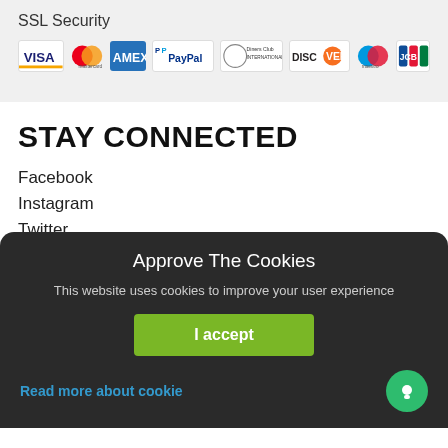SSL Security
[Figure (logo): Payment method logos: Visa, Mastercard, American Express, PayPal, Diners Club International, Discover, Maestro, JCB]
STAY CONNECTED
Facebook
Instagram
Twitter
Pinterest
Approve The Cookies
This website uses cookies to improve your user experience
I accept
Read more about cookie